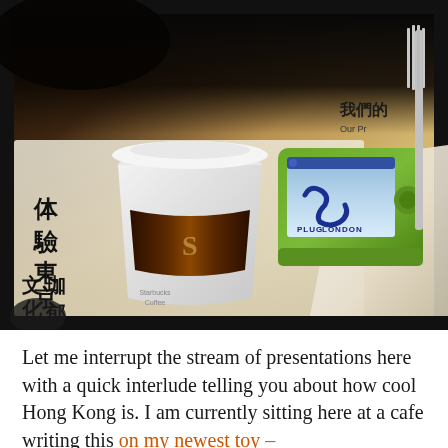[Figure (photo): Photo of a small green handheld device (showing PlugLondon website with snake logo) propped against a Starbucks coffee cup on a table, with a Chinese menu visible in the background and a fork on the right side. Taken at a cafe in Hong Kong.]
Let me interrupt the stream of presentations here with a quick interlude telling you about how cool Hong Kong is. I am currently sitting here at a cafe writing this on my newest toy –